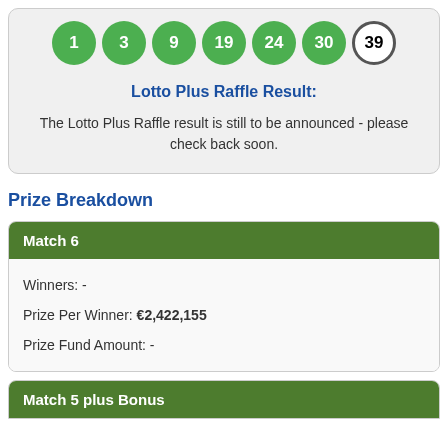[Figure (infographic): Lottery balls showing numbers 1, 3, 9, 19, 24, 30 (green) and bonus ball 39 (white/black outline)]
Lotto Plus Raffle Result:
The Lotto Plus Raffle result is still to be announced - please check back soon.
Prize Breakdown
| Match 6 |
| --- |
| Winners: - |
| Prize Per Winner: €2,422,155 |
| Prize Fund Amount: - |
Match 5 plus Bonus